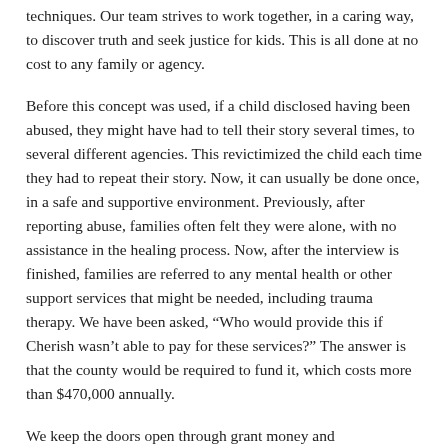techniques. Our team strives to work together, in a caring way, to discover truth and seek justice for kids. This is all done at no cost to any family or agency.
Before this concept was used, if a child disclosed having been abused, they might have had to tell their story several times, to several different agencies. This revictimized the child each time they had to repeat their story. Now, it can usually be done once, in a safe and supportive environment. Previously, after reporting abuse, families often felt they were alone, with no assistance in the healing process. Now, after the interview is finished, families are referred to any mental health or other support services that might be needed, including trauma therapy. We have been asked, “Who would provide this if Cherish wasn’t able to pay for these services?” The answer is that the county would be required to fund it, which costs more than $470,000 annually.
We keep the doors open through grant money and